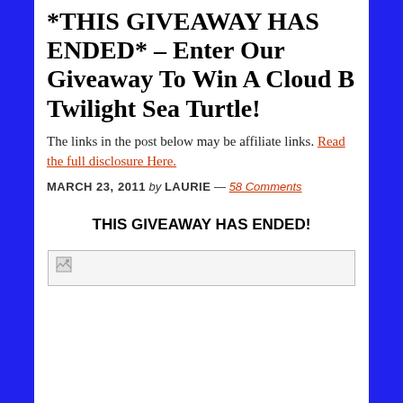*THIS GIVEAWAY HAS ENDED* – Enter Our Giveaway To Win A Cloud B Twilight Sea Turtle!
The links in the post below may be affiliate links. Read the full disclosure Here.
MARCH 23, 2011 by LAURIE — 58 Comments
THIS GIVEAWAY HAS ENDED!
[Figure (photo): Broken/missing image placeholder for Cloud B Twilight Sea Turtle product photo]